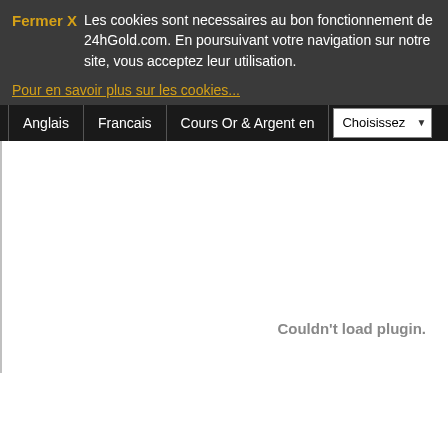Fermer X  Les cookies sont necessaires au bon fonctionnement de 24hGold.com. En poursuivant votre navigation sur notre site, vous acceptez leur utilisation.
Pour en savoir plus sur les cookies...
Anglais  Francais  Cours Or & Argent en  Choisissez
Couldn't load plugin.